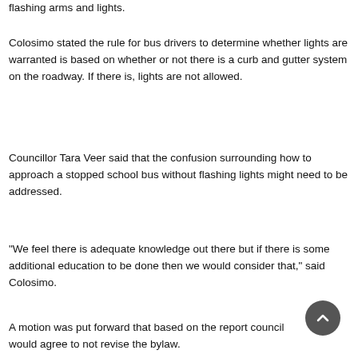flashing arms and lights.
Colosimo stated the rule for bus drivers to determine whether lights are warranted is based on whether or not there is a curb and gutter system on the roadway. If there is, lights are not allowed.
Councillor Tara Veer said that the confusion surrounding how to approach a stopped school bus without flashing lights might need to be addressed.
“We feel there is adequate knowledge out there but if there is some additional education to be done then we would consider that,” said Colosimo.
A motion was put forward that based on the report council would agree to not revise the bylaw.